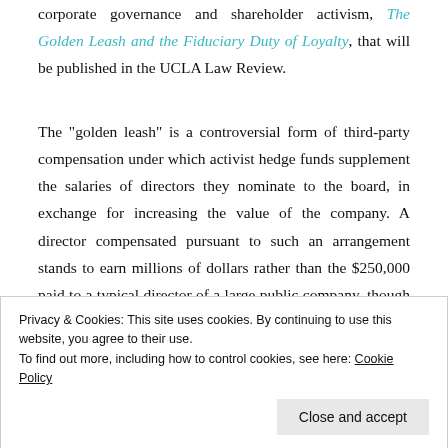corporate governance and shareholder activism, The Golden Leash and the Fiduciary Duty of Loyalty, that will be published in the UCLA Law Review.
The "golden leash" is a controversial form of third-party compensation under which activist hedge funds supplement the salaries of directors they nominate to the board, in exchange for increasing the value of the company. A director compensated pursuant to such an arrangement stands to earn millions of dollars rather than the $250,000 paid to a typical director of a large public company, though the more richly compensated director
Privacy & Cookies: This site uses cookies. By continuing to use this website, you agree to their use.
To find out more, including how to control cookies, see here: Cookie Policy
that depends on a more relaxed, porous conception of the